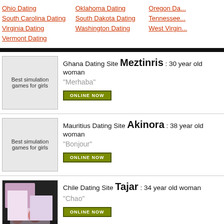Ohio Dating | Oklahoma Dating | Oregon Da... | South Carolina Dating | South Dakota Dating | Tennessee... | Virginia Dating | Washington Dating | West Virgin... | Vermont Dating
Ghana Dating Site Meztinris : 30 year old woman
"Merhaba"
ONLINE NOW
Mauritius Dating Site Akinora : 38 year old woman
"Bonjour"
ONLINE NOW
Chile Dating Site Tajar : 34 year old woman
"Chao"
ONLINE NOW